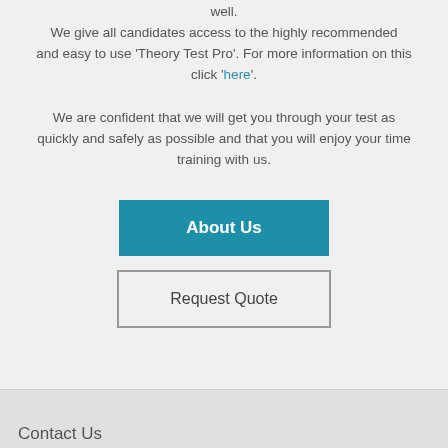well.
We give all candidates access to the highly recommended and easy to use 'Theory Test Pro'. For more information on this click 'here'.
We are confident that we will get you through your test as quickly and safely as possible and that you will enjoy your time training with us.
About Us
Request Quote
Contact Us